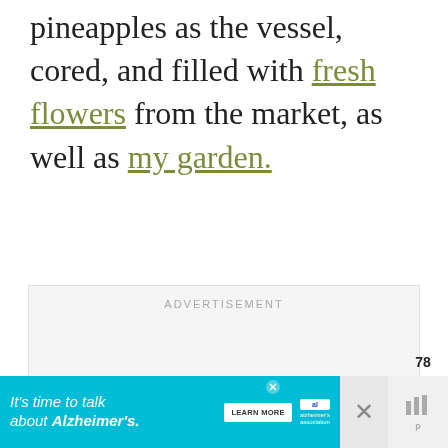pineapples as the vessel, cored, and filled with fresh flowers from the market, as well as my garden.
[Figure (screenshot): Advertisement placeholder box with 'ADVERTISEMENT' label in gray text, occupying a large rectangular area]
[Figure (screenshot): Heart/like button (blue circle with heart icon), count of 78, and share button on the right side of the page]
[Figure (screenshot): What's Next widget showing '6 Crazy Good Food for Lu...' with a thumbnail image]
[Figure (screenshot): Alzheimer's Association banner ad: 'It’s time to talk about Alzheimer’s.' with LEARN MORE button and logo, plus close and mute buttons]